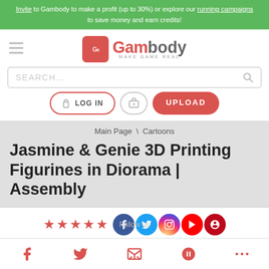Invite to Gambody to make a profit (up to 30%) or explore our running campaigns to save money and earn credits!
[Figure (logo): Gambody logo with red Ge icon and text 'Gambody MAKE GAME REAL']
SEARCH...
LOG IN  UPLOAD
Main Page \ Cartoons
Jasmine & Genie 3D Printing Figurines in Diorama | Assembly
[Figure (infographic): Star rating (4 out of 5 stars) and social media icons (Facebook, Twitter, Instagram, YouTube, Pinterest) with Follow us text]
AVERAGE  101  51
Social share icons: Facebook, Twitter, Email, Pinterest, More